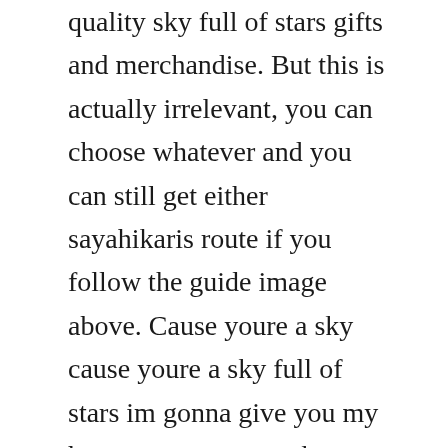quality sky full of stars gifts and merchandise. But this is actually irrelevant, you can choose whatever and you can still get either sayahikaris route if you follow the guide image above. Cause youre a sky cause youre a sky full of stars im gonna give you my heart cause youre a sky cause youre a sky full of stars cause you light up the path and i dont care go on and tear me apart and i dont care if you do cause in a sky. Colin stokes cello oscar micaelsson grand piano a sky full of stars. A sky full of stars is a coming of age astronomy tale by the same team who brought you if my